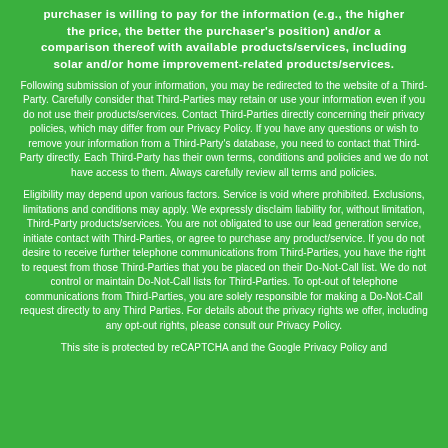purchaser is willing to pay for the information (e.g., the higher the price, the better the purchaser's position) and/or a comparison thereof with available products/services, including solar and/or home improvement-related products/services.
Following submission of your information, you may be redirected to the website of a Third-Party. Carefully consider that Third-Parties may retain or use your information even if you do not use their products/services. Contact Third-Parties directly concerning their privacy policies, which may differ from our Privacy Policy. If you have any questions or wish to remove your information from a Third-Party's database, you need to contact that Third-Party directly. Each Third-Party has their own terms, conditions and policies and we do not have access to them. Always carefully review all terms and policies.
Eligibility may depend upon various factors. Service is void where prohibited. Exclusions, limitations and conditions may apply. We expressly disclaim liability for, without limitation, Third-Party products/services. You are not obligated to use our lead generation service, initiate contact with Third-Parties, or agree to purchase any product/service. If you do not desire to receive further telephone communications from Third-Parties, you have the right to request from those Third-Parties that you be placed on their Do-Not-Call list. We do not control or maintain Do-Not-Call lists for Third-Parties. To opt-out of telephone communications from Third-Parties, you are solely responsible for making a Do-Not-Call request directly to any Third Parties. For details about the privacy rights we offer, including any opt-out rights, please consult our Privacy Policy.
This site is protected by reCAPTCHA and the Google Privacy Policy and